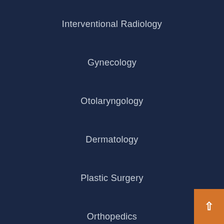Interventional Radiology
Gynecology
Otolaryngology
Dermatology
Plastic Surgery
Orthopedics
Podiatry
Neurology
About HealthTronics
We offer a broad array of minimally invasive, mobile medical equipment for clinical applications that improve patient care and